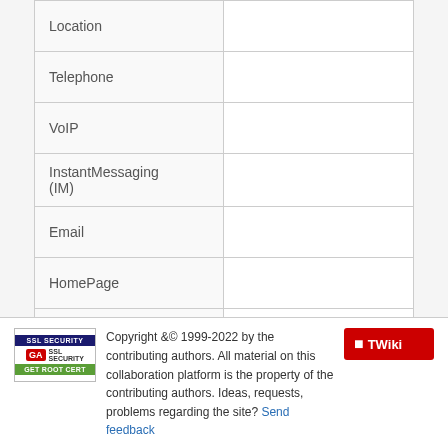| Field | Value |
| --- | --- |
| Location |  |
| Telephone |  |
| VoIP |  |
| InstantMessaging (IM) |  |
| Email |  |
| HomePage |  |
| Comment |  |
This topic: Users > TWikiUsers > MarcelSteinbrich
Topic revision: r1 - 2012-12-03 - 20:39:06 -
TWikiRegistrationAgent
Copyright &© 1999-2022 by the contributing authors. All material on this collaboration platform is the property of the contributing authors. Ideas, requests, problems regarding the site? Send feedback